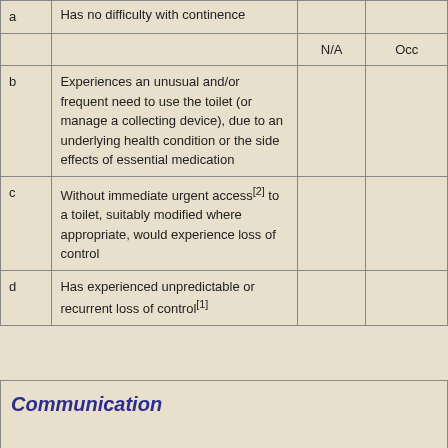|  |  | N/A | Occ |
| --- | --- | --- | --- |
| a | Has no difficulty with continence |  |  |
|  | N/A | Occ |  |
| b | Experiences an unusual and/or frequent need to use the toilet (or manage a collecting device), due to an underlying health condition or the side effects of essential medication |  |  |
| c | Without immediate urgent access[2] to a toilet, suitably modified where appropriate, would experience loss of control |  |  |
| d | Has experienced unpredictable or recurrent loss of control[1] |  |  |
Communication